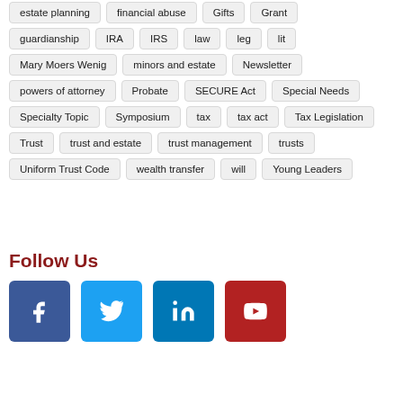estate planning
financial abuse
Gifts
Grant
guardianship
IRA
IRS
law
leg
lit
Mary Moers Wenig
minors and estate
Newsletter
powers of attorney
Probate
SECURE Act
Special Needs
Specialty Topic
Symposium
tax
tax act
Tax Legislation
Trust
trust and estate
trust management
trusts
Uniform Trust Code
wealth transfer
will
Young Leaders
Follow Us
[Figure (infographic): Social media icons: Facebook (blue), Twitter (light blue), LinkedIn (dark blue), YouTube (red)]